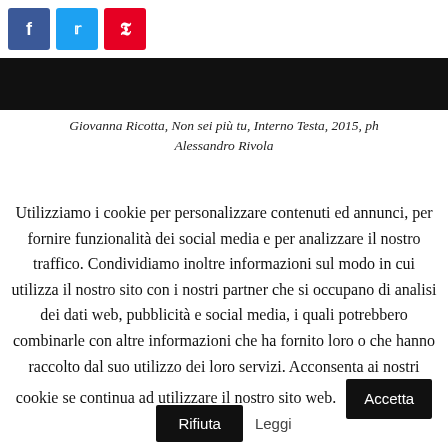[Figure (other): Social media sharing icons: Facebook (blue), Twitter (light blue), Pinterest (red)]
[Figure (photo): Dark/black image strip — artwork photograph]
Giovanna Ricotta, Non sei più tu, Interno Testa, 2015, ph Alessandro Rivola
Utilizziamo i cookie per personalizzare contenuti ed annunci, per fornire funzionalità dei social media e per analizzare il nostro traffico. Condividiamo inoltre informazioni sul modo in cui utilizza il nostro sito con i nostri partner che si occupano di analisi dei dati web, pubblicità e social media, i quali potrebbero combinarle con altre informazioni che ha fornito loro o che hanno raccolto dal suo utilizzo dei loro servizi. Acconsenta ai nostri cookie se continua ad utilizzare il nostro sito web. Accetta
Rifiuta Leggi